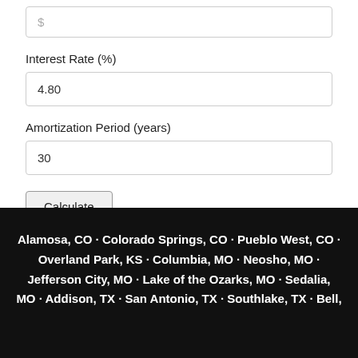$
Interest Rate (%)
4.80
Amortization Period (years)
30
Calculate
Alamosa, CO · Colorado Springs, CO · Pueblo West, CO · Overland Park, KS · Columbia, MO · Neosho, MO · Jefferson City, MO · Lake of the Ozarks, MO · Sedalia, MO · Addison, TX · San Antonio, TX · Southlake, TX · Bell,